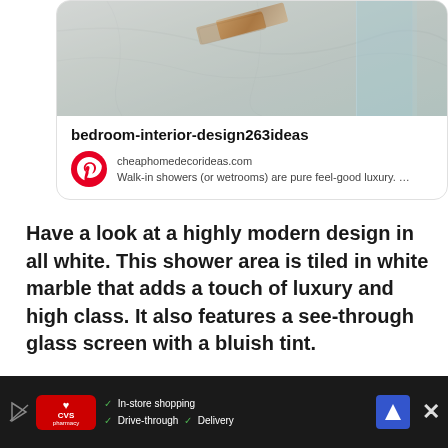[Figure (screenshot): Pinterest card showing a walk-in shower with marble tiles and glass screen. Card contains image, title 'bedroom-interior-design263ideas', Pinterest logo, URL 'cheaphomedecorideas.com', and description text.]
Have a look at a highly modern design in all white. This shower area is tiled in white marble that adds a touch of luxury and high class. It also features a see-through glass screen with a bluish tint.
Here is another bathroom design with a s
[Figure (screenshot): CVS Pharmacy advertisement bar at bottom with in-store shopping, drive-through, and delivery options. Blue navigation icon and close button visible.]